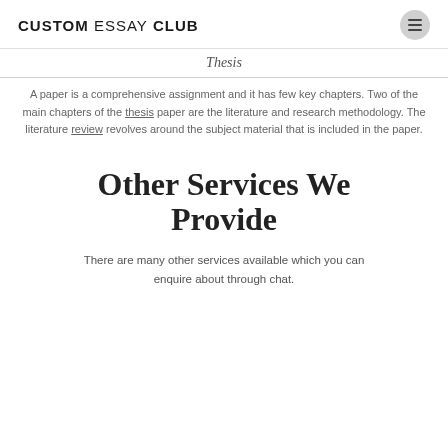CUSTOM ESSAY CLUB
Thesis
A paper is a comprehensive assignment and it has few key chapters. Two of the main chapters of the thesis paper are the literature and research methodology. The literature review revolves around the subject material that is included in the paper.
Other Services We Provide
There are many other services available which you can enquire about through chat.